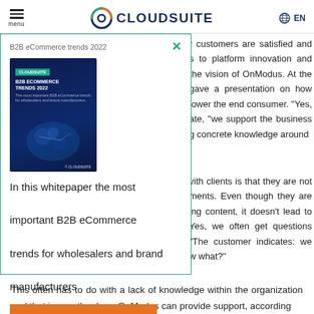menu | CLOUDSUITE | EN
[Figure (screenshot): CloudSuite B2B eCommerce trends 2022 whitepaper download modal popup with book cover image, description text, and orange download button]
r customers are satisfied and s to platform innovation and the vision of OnModus. At the gave a presentation on how lower the end consumer. "Yes, ate, "we support the business g concrete knowledge around
vith clients is that they are not ments. Even though they are ing content, it doesn't lead to Yes, we often get questions "The customer indicates: we w what?"
This often has to do with a lack of knowledge within the organization and that is exactly where OnModus can provide support, according